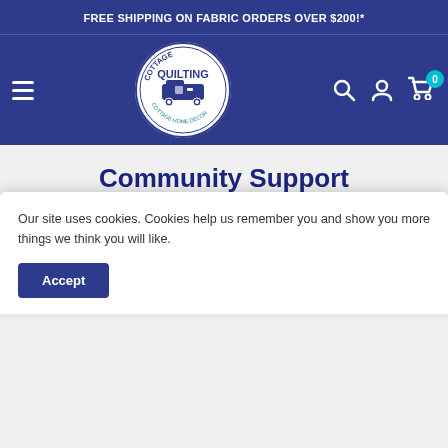FREE SHIPPING ON FABRIC ORDERS OVER $200!*
[Figure (logo): Cottage Quilting circular logo with sewing machine icon and decorative border]
Community Support
Cottage Quilting prides itself in giving back to the community in which we live in.  It is really important to help those that are living here in the Okanagan.  We recognize that not everyone is as fortunate as us and we appreciate your help and support in
Our site uses cookies.  Cookies help us remember you and show you more things we think you will like.
Accept